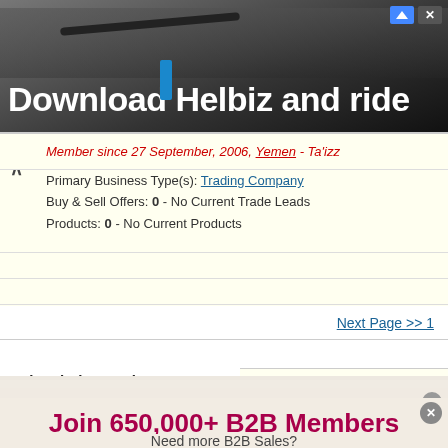[Figure (photo): Advertisement banner for Helbiz scooter app with dark background showing handlebars of an electric scooter]
Member since 27 September, 2006, Yemen - Ta'izz
Primary Business Type(s): Trading Company
Buy & Sell Offers: 0 - No Current Trade Leads
Products: 0 - No Current Products
Next Page >> 1
Join 650,000+ B2B Members
Need more B2B Sales?
Email Address
Get More B2B Sales